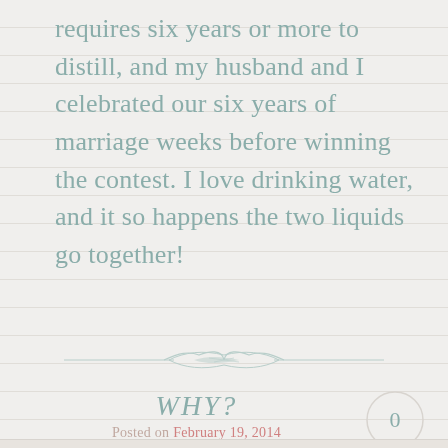requires six years or more to distill, and my husband and I celebrated our six years of marriage weeks before winning the contest. I love drinking water, and it so happens the two liquids go together!
[Figure (illustration): Decorative horizontal divider with a stylized script/flourish element in the center, flanked by thin horizontal lines]
WHY?
Posted on February 19, 2014